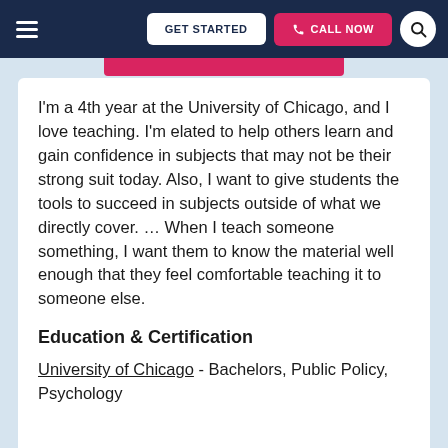GET STARTED  CALL NOW
I'm a 4th year at the University of Chicago, and I love teaching. I'm elated to help others learn and gain confidence in subjects that may not be their strong suit today. Also, I want to give students the tools to succeed in subjects outside of what we directly cover. … When I teach someone something, I want them to know the material well enough that they feel comfortable teaching it to someone else.
Education & Certification
University of Chicago - Bachelors, Public Policy, Psychology